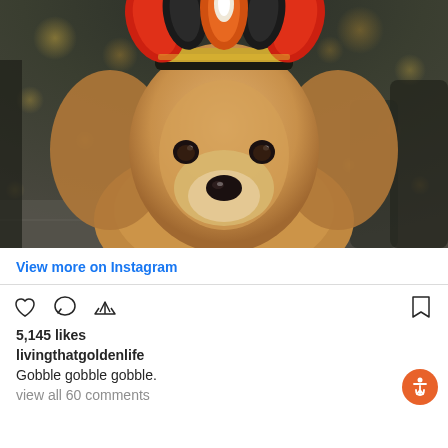[Figure (photo): Golden retriever dog wearing a colorful Thanksgiving turkey headband/crown with red, black, and orange feathers. The dog is looking directly at the camera with bokeh lights in the background.]
View more on Instagram
5,145 likes
livingthatgoldenlife
Gobble gobble gobble.
view all 60 comments